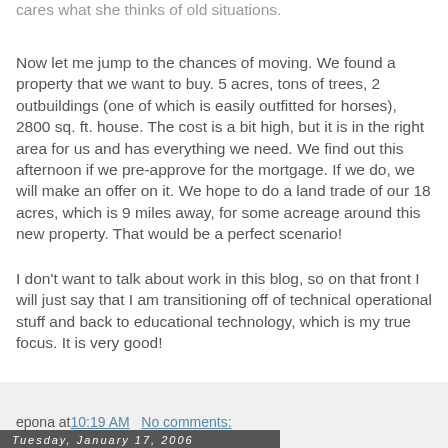cares what she thinks of old situations.
Now let me jump to the chances of moving. We found a property that we want to buy. 5 acres, tons of trees, 2 outbuildings (one of which is easily outfitted for horses), 2800 sq. ft. house. The cost is a bit high, but it is in the right area for us and has everything we need. We find out this afternoon if we pre-approve for the mortgage. If we do, we will make an offer on it. We hope to do a land trade of our 18 acres, which is 9 miles away, for some acreage around this new property. That would be a perfect scenario!
I don't want to talk about work in this blog, so on that front I will just say that I am transitioning off of technical operational stuff and back to educational technology, which is my true focus. It is very good!
epona at 10:19 AM   No comments:
Tuesday, January 17, 2006